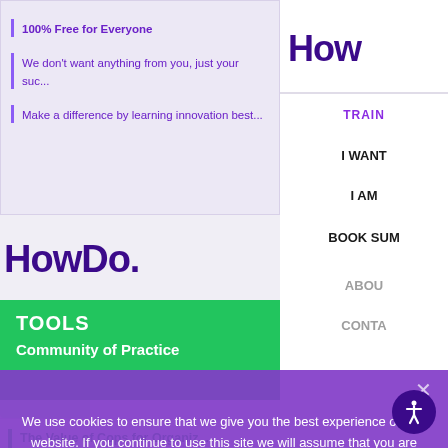100% Free for Everyone
We don't want anything from you, just your suc...
Make a difference by learning innovation best...
How
TRAIN
I WANT
I AM
BOOK SUM
ABOU
CONTA
HowDo.
TOOLS
Community of Practice
The Value of Cops for Organiz...
By logging in, you can read on an... where you left off
We use cookies to ensure that we give you the best experience on our website. If you continue to use this site we will assume that you are happy with it.
Ok